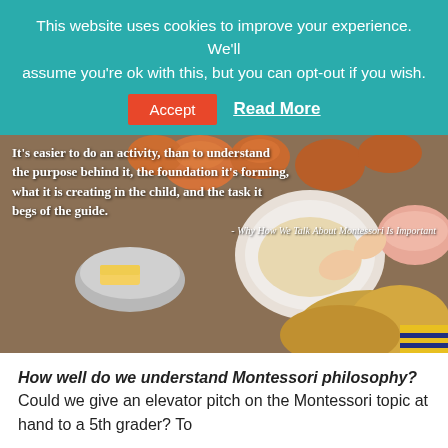This website uses cookies to improve your experience. We'll assume you're ok with this, but you can opt-out if you wish.
Accept   Read More
[Figure (photo): Overhead photo of a child with blonde hair working at a kitchen counter with bread rolls, a butter dish, and other food items. White text overlaid reads: It's easier to do an activity, than to understand the purpose behind it, the foundation it's forming, what it is creating in the child, and the task it begs of the guide. – Why How We Talk About Montessori Is Important]
How well do we understand Montessori philosophy? Could we give an elevator pitch on the Montessori topic at hand to a 5th grader? To